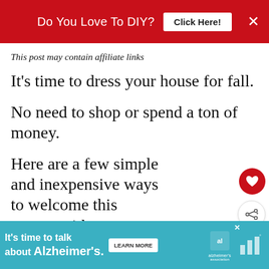Do You Love To DIY? Click Here! ×
This post may contain affiliate links
It's time to dress your house for fall.
No need to shop or spend a ton of money.
Here are a few simple and inexpensive ways to welcome this season without breaking the bank.
WHAT'S NEXT → Wooden Leaf Banner DIY...
[Figure (other): Alzheimer's advertisement banner: It's time to talk about Alzheimer's. Learn More. Alzheimer's Association logo.]